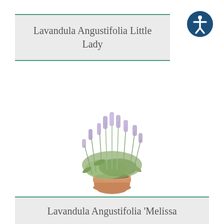Lavandula Angustifolia Little Lady
[Figure (photo): Lavender plant (Lavandula Angustifolia Little Lady) with purple blooms on tall spikes, growing in a terracotta pot on a white background]
Lavandula Angustifolia 'Melissa